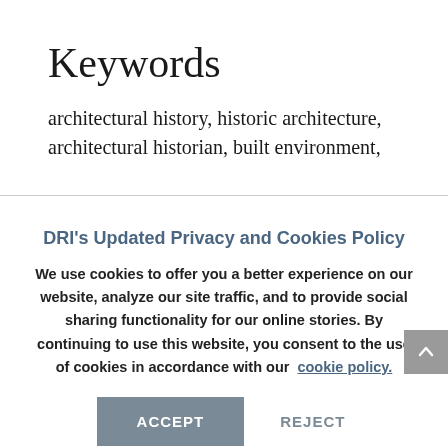Keywords
architectural history, historic architecture, architectural historian, built environment,
DRI's Updated Privacy and Cookies Policy
We use cookies to offer you a better experience on our website, analyze our site traffic, and to provide social sharing functionality for our online stories. By continuing to use this website, you consent to the use of cookies in accordance with our cookie policy.